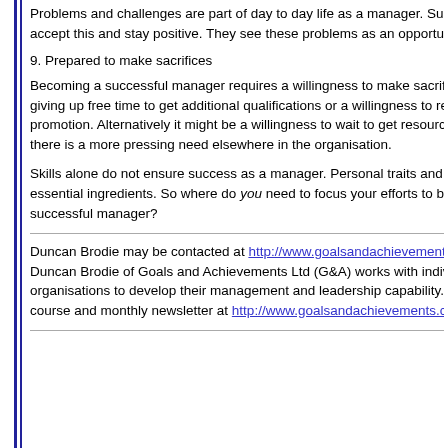Problems and challenges are part of day to day life as a manager. Succ accept this and stay positive. They see these problems as an opportuni
9. Prepared to make sacrifices
Becoming a successful manager requires a willingness to make sacrific giving up free time to get additional qualifications or a willingness to rel promotion. Alternatively it might be a willingness to wait to get resources there is a more pressing need elsewhere in the organisation.
Skills alone do not ensure success as a manager. Personal traits and va essential ingredients. So where do you need to focus your efforts to be successful manager?
Duncan Brodie may be contacted at http://www.goalsandachievements. Duncan Brodie of Goals and Achievements Ltd (G&A) works with indiv organisations to develop their management and leadership capability. S course and monthly newsletter at http://www.goalsandachievements.co